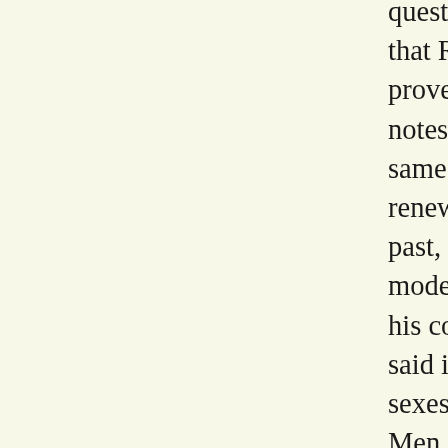question of women's rights. And it is here that Ramadan's dialectical language has proved to be exceptionally flexible, hitting notes that are ancient and modern at the same time--the tones of the Islamic renewal that wishes to return to the salafi past, yet wishes to do so with an eye to modernity and a willingness to innovate. In his conversation with Buruma, Ramadan said in regard to the relation between the sexes: "The body must not be forgotten. Men and women are not the same. In Islamic tradition, women are seen in terms of being mothers, wives, or daughters. Now woman exists as woman." This makes Ramadan sound like a traditionalist, and he certainly is one. Yet the traditions in question here are not the same as folk customs or peasant gowns. Ramadan's phrase "Islamic tradition" in this passage means Islamic law: a religious matter, not a folk habit. But then, since religious law bespeaks the eternal, there is no reason why Ramadan